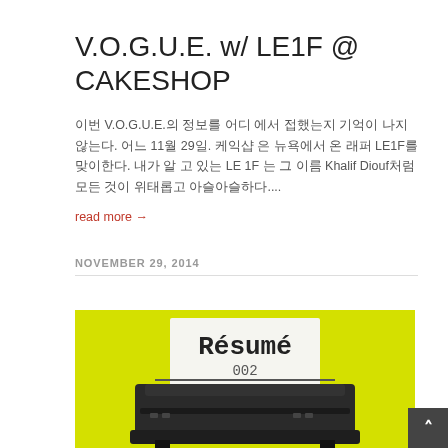V.O.G.U.E. w/ LE1F @ CAKESHOP
이번 V.O.G.U.E.의 정보를 어디 에서 접했는지 기억이 나지않는다. 어느 11월 29일. 케익샵 은 뉴욕에서 온 래퍼 LE1F를 맞이한다. 내가 알 고 있는 LE1F 는 그 이름 Khalif Diouf처럼 모든 것이 위태롭고 아슬아슬하다....
read more →
NOVEMBER 29, 2014
[Figure (photo): Yellow background with a typewriter displaying a paper that reads 'Résumé 002']